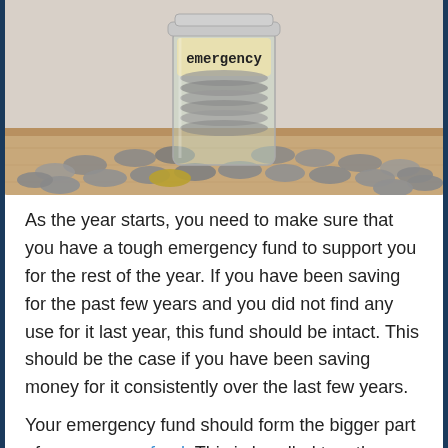[Figure (photo): A glass jar labeled 'emergency' filled with coins, surrounded by a pile of loose coins on a wooden surface.]
As the year starts, you need to make sure that you have a tough emergency fund to support you for the rest of the year. If you have been saving for the past few years and you did not find any use for it last year, this fund should be intact. This should be the case if you have been saving money for it consistently over the last few years.
Your emergency fund should form the bigger part of your reserve fund. This is bundled together with your rainy day fund. The emergency fund is what you use when things do not go according to your plan. This can be anything from